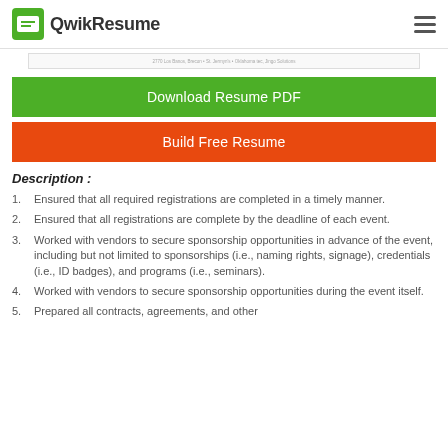QwikResume
[Figure (screenshot): Preview strip of resume content]
Download Resume PDF
Build Free Resume
Description :
Ensured that all required registrations are completed in a timely manner.
Ensured that all registrations are complete by the deadline of each event.
Worked with vendors to secure sponsorship opportunities in advance of the event, including but not limited to sponsorships (i.e., naming rights, signage), credentials (i.e., ID badges), and programs (i.e., seminars).
Worked with vendors to secure sponsorship opportunities during the event itself.
Prepared all contracts, agreements, and other